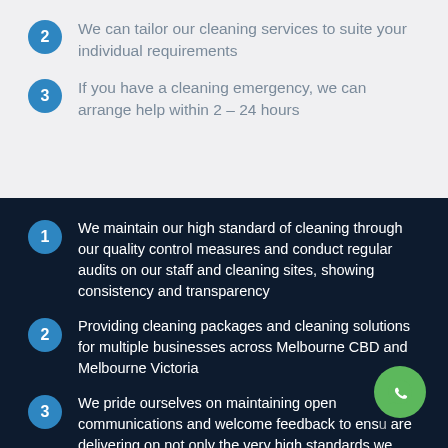2 We can tailor our cleaning services to suite your individual requirements
3 If you have a cleaning emergency, we can arrange help within 2 – 24 hours
1 We maintain our high standard of cleaning through our quality control measures and conduct regular audits on our staff and cleaning sites, showing consistency and transparency
2 Providing cleaning packages and cleaning solutions for multiple businesses across Melbourne CBD and Melbourne Victoria
3 We pride ourselves on maintaining open communications and welcome feedback to ensure we are delivering on not only the very high standards we